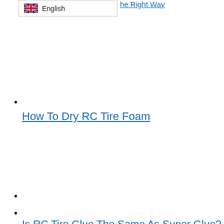[Figure (illustration): UK flag icon next to English language selector in a bordered box]
the Right Way
How To Dry RC Tire Foam
Is RC Tire Glue The Same As Super Glue?